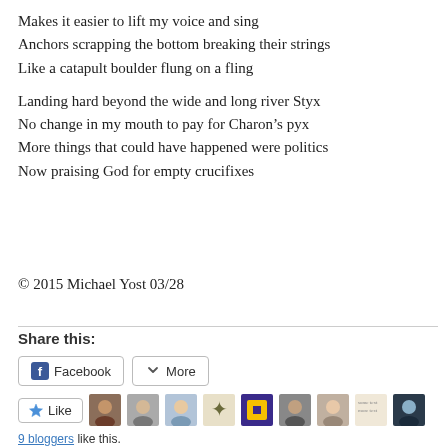Makes it easier to lift my voice and sing
Anchors scrapping the bottom breaking their strings
Like a catapult boulder flung on a fling

Landing hard beyond the wide and long river Styx
No change in my mouth to pay for Charon’s pyx
More things that could have happened were politics
Now praising God for empty crucifixes
© 2015 Michael Yost 03/28
Share this:
Facebook  More
Like  9 bloggers like this.